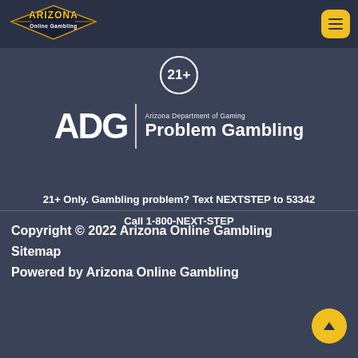[Figure (logo): Arizona Online Gambling logo in top left header]
[Figure (logo): Yellow hamburger menu button in top right header]
[Figure (logo): 21+ age badge circle icon]
[Figure (logo): ADG Arizona Department of Gaming Problem Gambling logo]
21+ Only. Gambling problem? Text NEXTSTEP to 53342
Call 1-800-NEXT-STEP
Copyright © 2022 Arizona Online Gambling
Sitemap
Powered by Arizona Online Gambling
[Figure (logo): Back to top yellow circular arrow-up button]